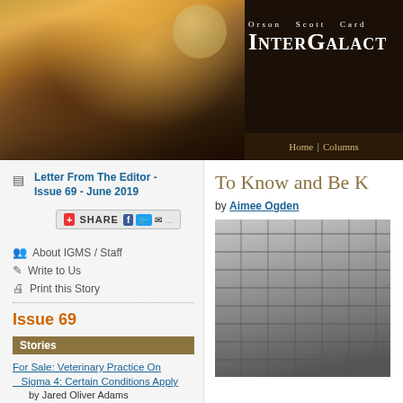[Figure (illustration): Fantasy sci-fi banner image with floating ship above alien landscape with glowing green elements and orange sky]
Orson Scott Card InterGalactic
Home | Columns
Letter From The Editor - Issue 69 - June 2019
About IGMS / Staff
Write to Us
Print this Story
Issue 69
Stories
For Sale: Veterinary Practice On Sigma 4: Certain Conditions Apply
    by Jared Oliver Adams
Into the Roots of the World, Bearing light...
To Know and Be K
by Aimee Ogden
[Figure (photo): Black and white photo of stone wall/dungeon architecture]